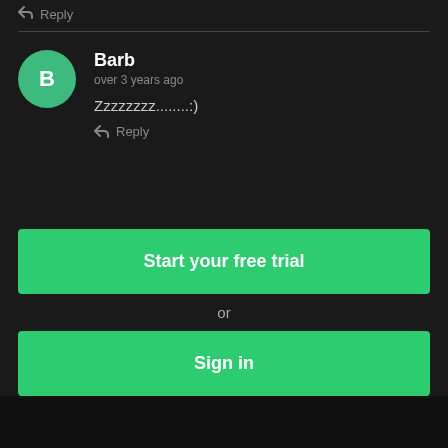Reply
Barb
over 3 years ago
Zzzzzzzz........:)
Reply
Start your free trial
or
Sign in